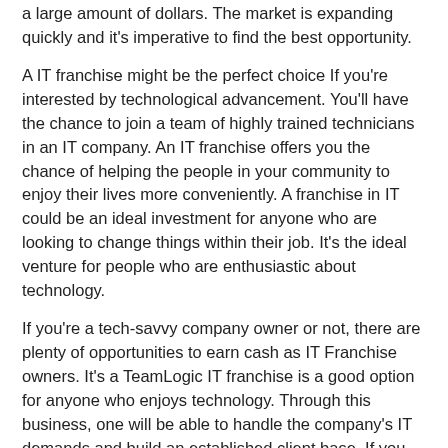a large amount of dollars. The market is expanding quickly and it's imperative to find the best opportunity.
A IT franchise might be the perfect choice If you're interested by technological advancement. You'll have the chance to join a team of highly trained technicians in an IT company. An IT franchise offers you the chance of helping the people in your community to enjoy their lives more conveniently. A franchise in IT could be an ideal investment for anyone who are looking to change things within their job. It's the ideal venture for people who are enthusiastic about technology.
If you're a tech-savvy company owner or not, there are plenty of opportunities to earn cash as IT Franchise owners. It's a TeamLogic IT franchise is a good option for anyone who enjoys technology. Through this business, one will be able to handle the company's IT demands and build an established client base. If you have the right IT Franchise, you'll make a living from your area. There are dozens of advantages and advantages to having an IT Franchise.
Keep in mind ... We are right here to aid!